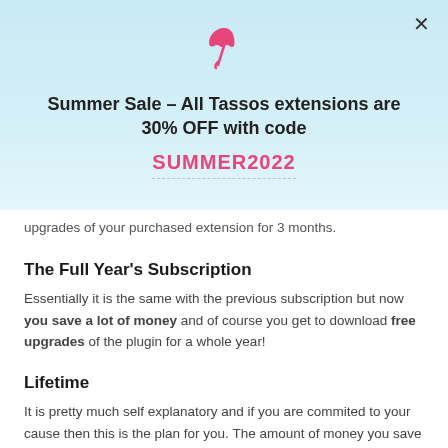[Figure (logo): Pink beach umbrella / fishing rod icon]
Summer Sale – All Tassos extensions are 30% OFF with code
SUMMER2022
upgrades of your purchased extension for 3 months.
The Full Year's Subscription
Essentially it is the same with the previous subscription but now you save a lot of money and of course you get to download free upgrades of the plugin for a whole year!
Lifetime
It is pretty much self explanatory and if you are commited to your cause then this is the plan for you. The amount of money you save with this plan is really incalculable since you'll be enjoying quality functionality, frequently updated and virtually